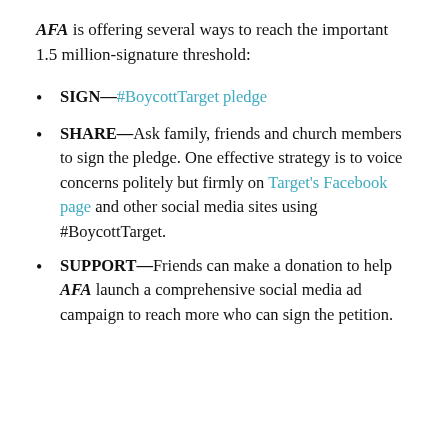AFA is offering several ways to reach the important 1.5 million-signature threshold:
SIGN—#BoycottTarget pledge
SHARE—Ask family, friends and church members to sign the pledge. One effective strategy is to voice concerns politely but firmly on Target's Facebook page and other social media sites using #BoycottTarget.
SUPPORT—Friends can make a donation to help AFA launch a comprehensive social media ad campaign to reach more who can sign the petition.